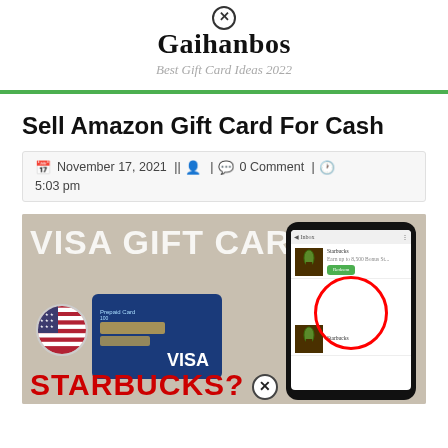Gaihanbos
Best Gift Card Ideas 2022
Sell Amazon Gift Card For Cash
November 17, 2021 || [author icon] | [comment icon] 0 Comment | [clock icon] 5:03 pm
[Figure (photo): Photo showing a Visa Gift Card with a US flag sticker and the word VISA, alongside a smartphone displaying an app with a Starbucks product circled in red. Large text reads 'VISA GIFT CARD' and 'STARBUCKS?' overlaid on the image.]